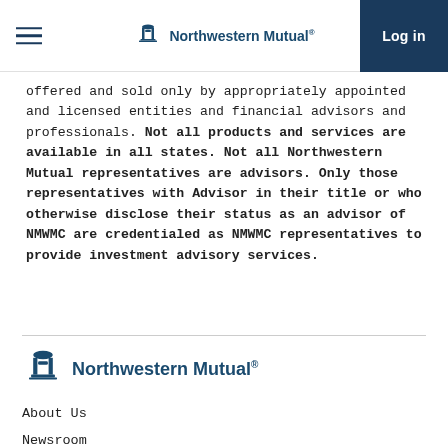Northwestern Mutual | Log in
offered and sold only by appropriately appointed and licensed entities and financial advisors and professionals. Not all products and services are available in all states. Not all Northwestern Mutual representatives are advisors. Only those representatives with Advisor in their title or who otherwise disclose their status as an advisor of NMWMC are credentialed as NMWMC representatives to provide investment advisory services.
[Figure (logo): Northwestern Mutual logo with decorative column capital icon and text 'Northwestern Mutual®' in dark blue, large size, in footer area]
About Us
Newsroom
Careers